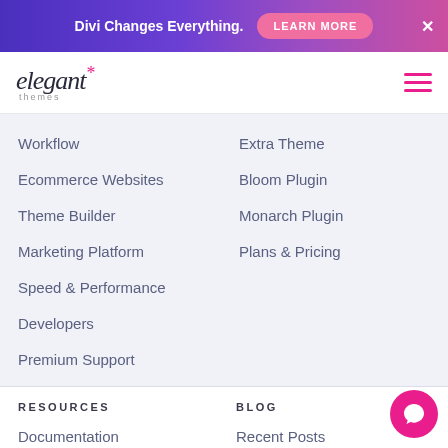Divi Changes Everything. LEARN MORE ×
[Figure (logo): Elegant Themes logo with asterisk star and hamburger menu icon]
Workflow
Extra Theme
Ecommerce Websites
Bloom Plugin
Theme Builder
Monarch Plugin
Marketing Platform
Plans & Pricing
Speed & Performance
Developers
Premium Support
RESOURCES
BLOG
Documentation
Recent Posts
Help Articles & FAQ
Product Updates
24/7 Support
Divi Resources